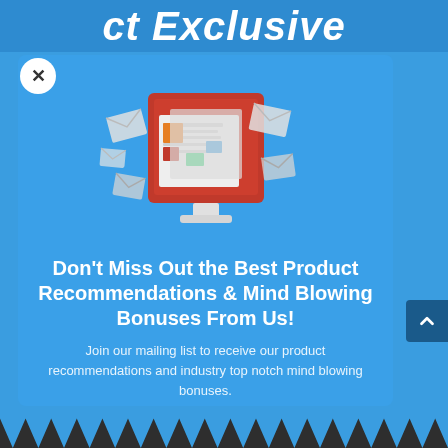ct Exclusive
[Figure (illustration): A monitor/computer screen displaying a newspaper/newsletter with colorful blocks (orange, red, teal), surrounded by floating envelope icons representing email newsletters.]
Don't Miss Out the Best Product Recommendations & Mind Blowing Bonuses From Us!
Join our mailing list to receive our product recommendations and industry top notch mind blowing bonuses.